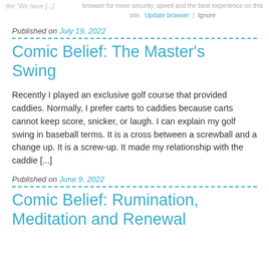browser for more security, speed and the best experience on this site. Update browser | Ignore
the "We have [...]
Published on July 19, 2022
Comic Belief: The Master's Swing
Recently I played an exclusive golf course that provided caddies. Normally, I prefer carts to caddies because carts cannot keep score, snicker, or laugh. I can explain my golf swing in baseball terms. It is a cross between a screwball and a change up. It is a screw-up. It made my relationship with the caddie [...]
Published on June 9, 2022
Comic Belief: Rumination, Meditation and Renewal